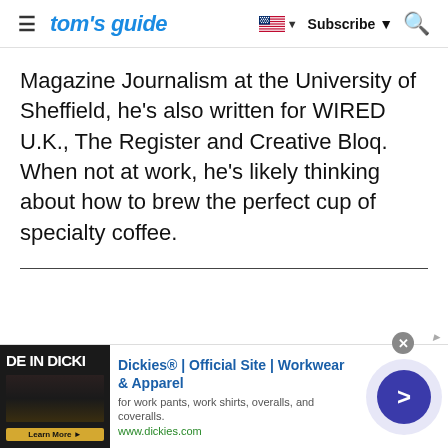tom's guide | Subscribe
Magazine Journalism at the University of Sheffield, he's also written for WIRED U.K., The Register and Creative Bloq. When not at work, he's likely thinking about how to brew the perfect cup of specialty coffee.
[Figure (other): Advertisement banner for Dickies Official Site - Workwear & Apparel, showing product image on left and ad text with forward arrow button on right]